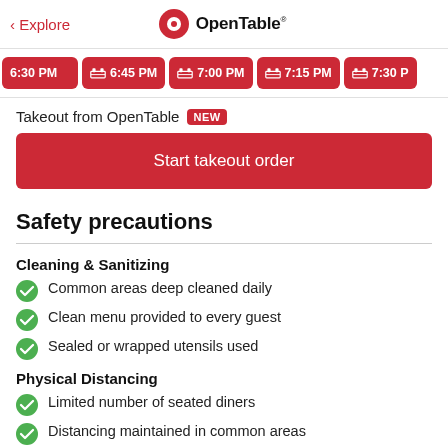< Explore  OpenTable
[Figure (other): Horizontal scrollable row of red reservation time slot buttons: 6:30 PM, 6:45 PM, 7:00 PM, 7:15 PM, 7:30 PM]
Takeout from OpenTable NEW
Start takeout order
Safety precautions
Cleaning & Sanitizing
Common areas deep cleaned daily
Clean menu provided to every guest
Sealed or wrapped utensils used
Physical Distancing
Limited number of seated diners
Distancing maintained in common areas
Extra space between tables